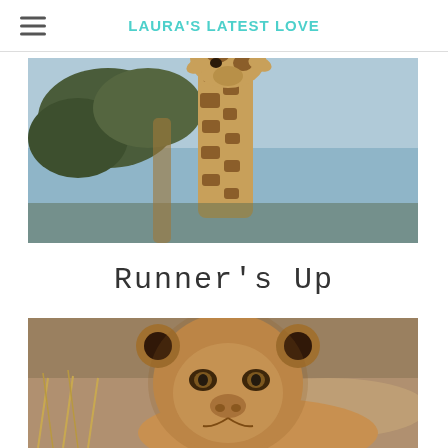LAURA'S LATEST LOVE
[Figure (photo): Close-up photograph of a giraffe looking down at the camera, with trees and blue sky in the background]
Runner's Up
[Figure (photo): Close-up photograph of a young lion or lioness looking directly at the camera, with dry grass and sandy ground in the background]